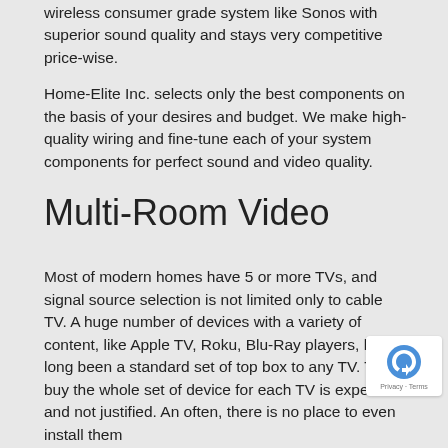wireless consumer grade system like Sonos with superior sound quality and stays very competitive price-wise.
Home-Elite Inc. selects only the best components on the basis of your desires and budget. We make high-quality wiring and fine-tune each of your system components for perfect sound and video quality.
Multi-Room Video
Most of modern homes have 5 or more TVs, and signal source selection is not limited only to cable TV. A huge number of devices with a variety of content, like Apple TV, Roku, Blu-Ray players, have long been a standard set of top box to any TV. To buy the whole set of devices for each TV is expensive and not justified. And often, there is no place to even install them there...